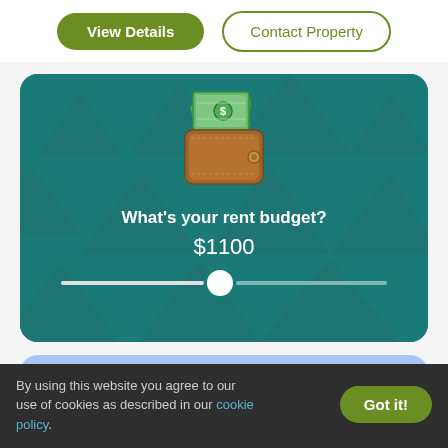View Details
Contact Property
[Figure (illustration): A teal card with wallet/money illustration, text 'What's your rent budget?' and '$1100' with a slider control]
What's your rent budget?
$1100
[Figure (illustration): Partial blue card with heart/favorite button]
By using this website you agree to our use of cookies as described in our cookie policy.
Got it!